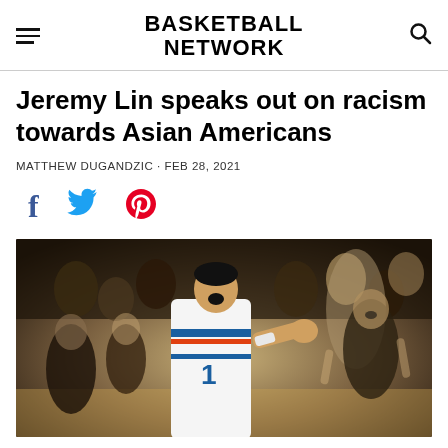BASKETBALL NETWORK
Jeremy Lin speaks out on racism towards Asian Americans
MATTHEW DUGANDZIC · FEB 28, 2021
[Figure (other): Social sharing icons: Facebook, Twitter, Pinterest]
[Figure (photo): Jeremy Lin in a New York Knicks white jersey celebrating on court with crowd cheering in the background, sepia-toned photo]